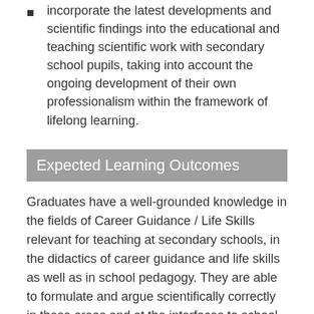incorporate the latest developments and scientific findings into the educational and teaching scientific work with secondary school pupils, taking into account the ongoing development of their own professionalism within the framework of lifelong learning.
Expected Learning Outcomes
Graduates have a well-grounded knowledge in the fields of Career Guidance / Life Skills relevant for teaching at secondary schools, in the didactics of career guidance and life skills as well as in school pedagogy. They are able to formulate and argue scientifically correctly in these areas and at the interfaces to school practice, as well as to solve problems in an innovative way. They are able to promote personal development processes, to accompany Career